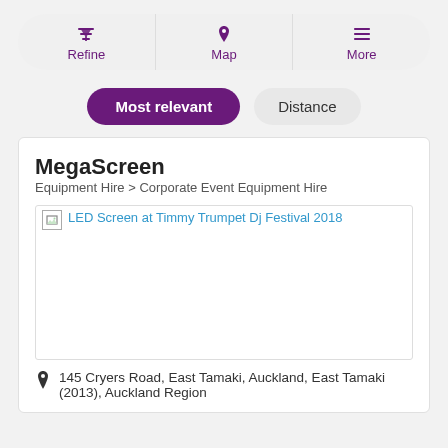[Figure (screenshot): Navigation bar with Refine, Map, and More options with icons]
Most relevant | Distance
MegaScreen
Equipment Hire > Corporate Event Equipment Hire
[Figure (photo): Broken image placeholder with link: LED Screen at Timmy Trumpet Dj Festival 2018]
145 Cryers Road, East Tamaki, Auckland, East Tamaki (2013), Auckland Region